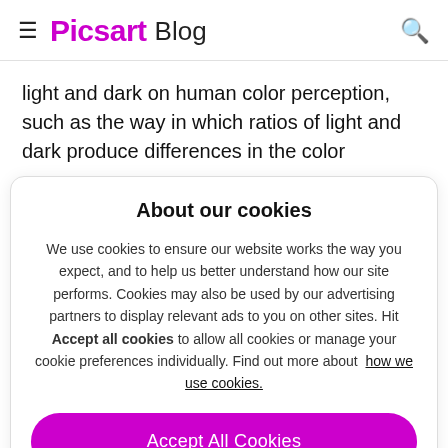≡ Picsart Blog 🔍
light and dark on human color perception, such as the way in which ratios of light and dark produce differences in the color
About our cookies
We use cookies to ensure our website works the way you expect, and to help us better understand how our site performs. Cookies may also be used by our advertising partners to display relevant ads to you on other sites. Hit Accept all cookies to allow all cookies or manage your cookie preferences individually. Find out more about how we use cookies.
Accept All Cookies
Manage Cookies